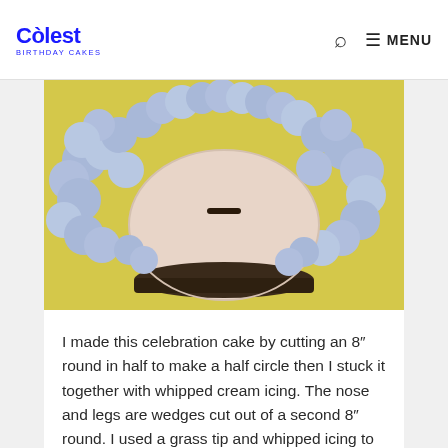Coolest Birthday Cakes — MENU
[Figure (photo): A sheep-shaped celebration cake decorated with blue whipped icing fur, a round pale-pink fondant nose/head center piece, on a yellow background.]
I made this celebration cake by cutting an 8″ round in half to make a half circle then I stuck it together with whipped cream icing. The nose and legs are wedges cut out of a second 8″ round. I used a grass tip and whipped icing to make the fur. The ears are Graeme … Read more